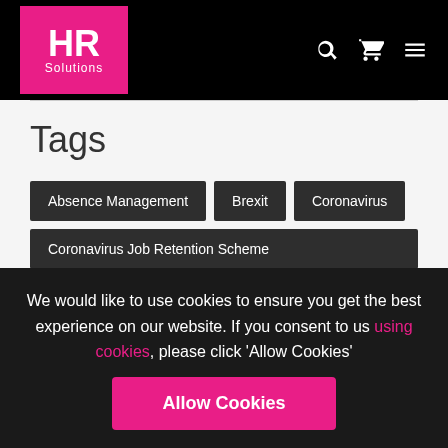HR Solutions
Tags
Absence Management
Brexit
Coronavirus
Coronavirus Job Retention Scheme
COVID-19
Data Protection
Discrimination
Employee Benefits
Employee Engagement
Our website uses tracking technologies to learn how our visitors interact with our site so
We would like to use cookies to ensure you get the best experience on our website. If you consent to us using cookies, please click 'Allow Cookies'